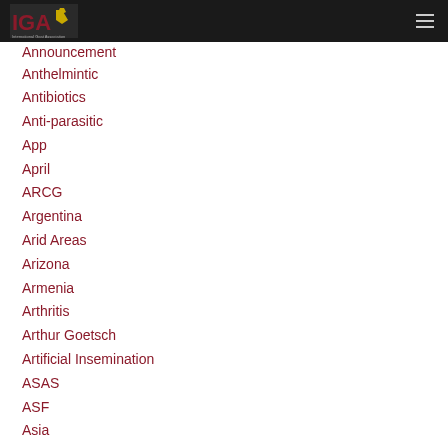IGA — International Goat Association
Announcement
Anthelmintic
Antibiotics
Anti-parasitic
App
April
ARCG
Argentina
Arid Areas
Arizona
Armenia
Arthritis
Arthur Goetsch
Artificial Insemination
ASAS
ASF
Asia